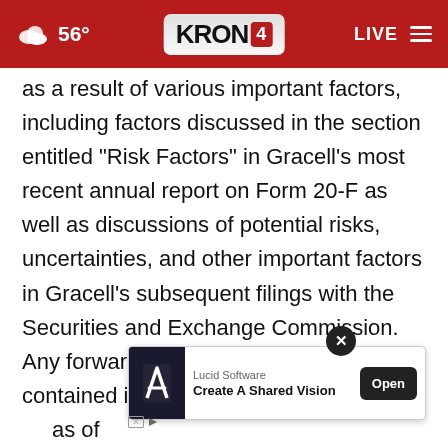KRON 4 | 56° | LIVE
as a result of various important factors, including factors discussed in the section entitled "Risk Factors" in Gracell's most recent annual report on Form 20-F as well as discussions of potential risks, uncertainties, and other important factors in Gracell's subsequent filings with the Securities and Exchange Commission. Any forward-looking statements contained in this press release speak o[X]as of the d[ad overlay] disclaims any obligation to update any forward-
[Figure (screenshot): In-app advertisement overlay for Lucid Software with text 'Create A Shared Vision' and an Open button]